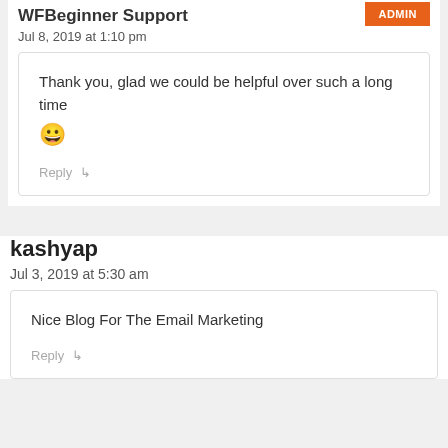WFBeginner Support
Jul 8, 2019 at 1:10 pm
Thank you, glad we could be helpful over such a long time 😀
Reply
kashyap
Jul 3, 2019 at 5:30 am
Nice Blog For The Email Marketing
Reply